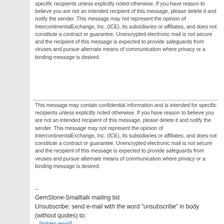specific recipients unless explicitly noted otherwise. If you have reason to believe you are not an intended recipient of this message, please delete it and notify the sender. This message may not represent the opinion of IntercontinentalExchange, Inc. (ICE), its subsidiaries or affiliates, and does not constitute a contract or guarantee. Unencrypted electronic mail is not secure and the recipient of this message is expected to provide safeguards from viruses and pursue alternate means of communication where privacy or a binding message is desired.
This message may contain confidential information and is intended for specific recipients unless explicitly noted otherwise. If you have reason to believe you are not an intended recipient of this message, please delete it and notify the sender. This message may not represent the opinion of IntercontinentalExchange, Inc. (ICE), its subsidiaries or affiliates, and does not constitute a contract or guarantee. Unencrypted electronic mail is not secure and the recipient of this message is expected to provide safeguards from viruses and pursue alternate means of communication where privacy or a binding message is desired.
--
GemStone-Smalltalk mailing list
Unsubscribe: send e-mail with the word "unsubscribe" in body (without quotes) to:
[hidden email]
Archive: http://forum.world.st/Gemstone-Customers-f1461796.html